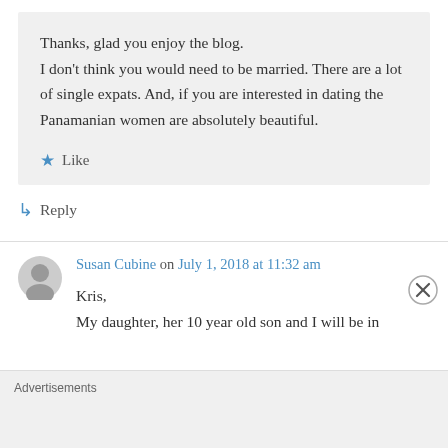Thanks, glad you enjoy the blog.
I don't think you would need to be married. There are a lot of single expats. And, if you are interested in dating the Panamanian women are absolutely beautiful.
★ Like
↳ Reply
Susan Cubine on July 1, 2018 at 11:32 am
Kris,
My daughter, her 10 year old son and I will be in
Advertisements